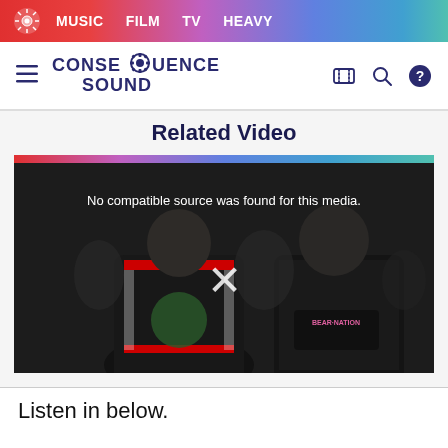MUSIC  FILM  TV  HEAVY
[Figure (logo): Consequence Sound logo with navigation icons (hamburger menu, ticket icon, search, help)]
Related Video
[Figure (screenshot): Video player showing two men posing dramatically with hands raised. Error message: No compatible source was found for this media. A white X close button is visible. A rainbow gradient bar runs across the top of the player.]
Listen in below.